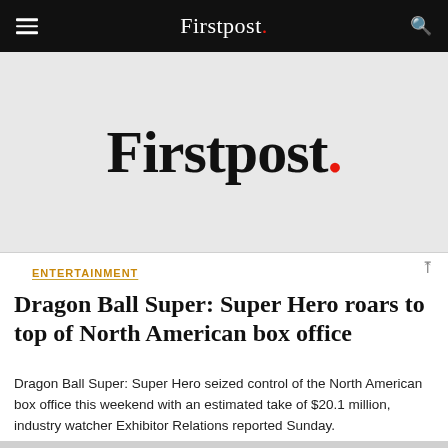Firstpost.
[Figure (logo): Firstpost logo — large serif wordmark in black with a red period, on a light grey background]
ENTERTAINMENT
Dragon Ball Super: Super Hero roars to top of North American box office
Dragon Ball Super: Super Hero seized control of the North American box office this weekend with an estimated take of $20.1 million, industry watcher Exhibitor Relations reported Sunday.